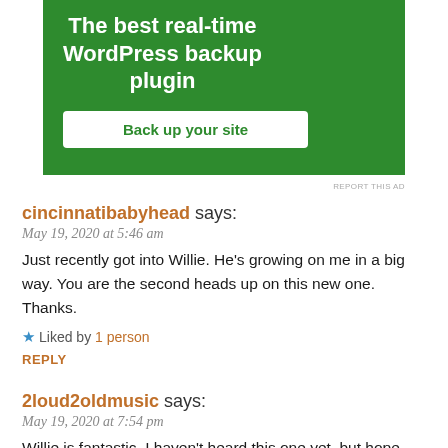[Figure (screenshot): Green WordPress backup plugin advertisement banner with white text 'The best real-time WordPress backup plugin' and a white button labeled 'Back up your site']
REPORT THIS AD
cincinnatibabyhead says:
May 19, 2020 at 5:46 am
Just recently got into Willie. He's growing on me in a big way. You are the second heads up on this new one. Thanks.
Liked by 1 person
REPLY
2loud2oldmusic says:
May 19, 2020 at 7:54 pm
Willie is fantastic. I haven't heard this one yet, but hope you